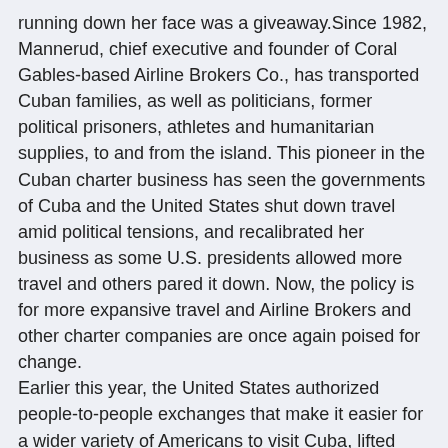running down her face was a giveaway.Since 1982, Mannerud, chief executive and founder of Coral Gables-based Airline Brokers Co., has transported Cuban families, as well as politicians, former political prisoners, athletes and humanitarian supplies, to and from the island. This pioneer in the Cuban charter business has seen the governments of Cuba and the United States shut down travel amid political tensions, and recalibrated her business as some U.S. presidents allowed more travel and others pared it down. Now, the policy is for more expansive travel and Airline Brokers and other charter companies are once again poised for change.
Earlier this year, the United States authorized people-to-people exchanges that make it easier for a wider variety of Americans to visit Cuba, lifted some restrictions on academic trips, and expanded the number of cities that can serve as gateways for Cuba travel from three to 15.
While many have embraced the changes — a record number of travelers from the United States are expected this year — others have criticized the flights because landing fees and payments for other services flow to Cuban government coffers.